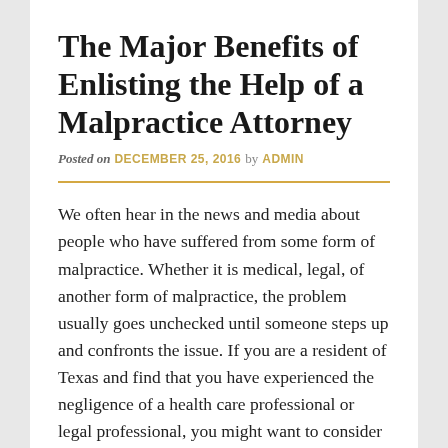The Major Benefits of Enlisting the Help of a Malpractice Attorney
Posted on DECEMBER 25, 2016 by ADMIN
We often hear in the news and media about people who have suffered from some form of malpractice. Whether it is medical, legal, of another form of malpractice, the problem usually goes unchecked until someone steps up and confronts the issue. If you are a resident of Texas and find that you have experienced the negligence of a health care professional or legal professional, you might want to consider filing a claim with a San Antonio malpractice attorney. Not only will you be forcing the company or professional to acknowledge the problem, but you could also be entitled